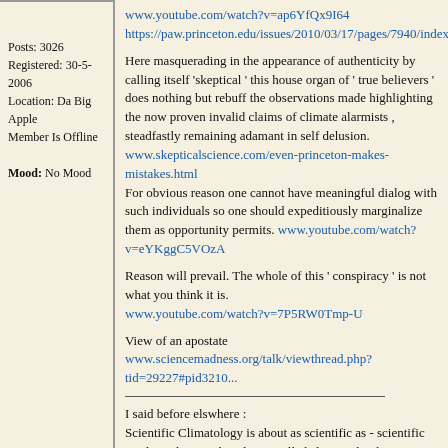Posts: 3026
Registered: 30-5-2006
Location: Da Big Apple
Member Is Offline

Mood: No Mood
www.youtube.com/watch?v=ap6YfQx9I64
https://paw.princeton.edu/issues/2010/03/17/pages/7940/index...
Here masquerading in the appearance of authenticity by calling itself 'skeptical ' this house organ of ' true believers ' does nothing but rebuff the observations made highlighting the now proven invalid claims of climate alarmists , steadfastly remaining adamant in self delusion.
www.skepticalscience.com/even-princeton-makes-mistakes.html
For obvious reason one cannot have meaningful dialog with such individuals so one should expeditiously marginalize them as opportunity permits.
www.youtube.com/watch?v=eYKggC5VOzA
Reason will prevail. The whole of this ' conspiracy ' is not what you think it is.
www.youtube.com/watch?v=7P5RW0Tmp-U
View of an apostate
www.sciencemadness.org/talk/viewthread.php?tid=29227#pid3210...
I said before elswhere :
Scientific Climatology is about as scientific as - scientific stock market trend analysis. Called charting by the quants that practice this arcana. If climate modeling projections were as accurate as proclaimed , with some adjustments they would be able to make a killing in the security exchange and currency arbitrage markets. The applied math is